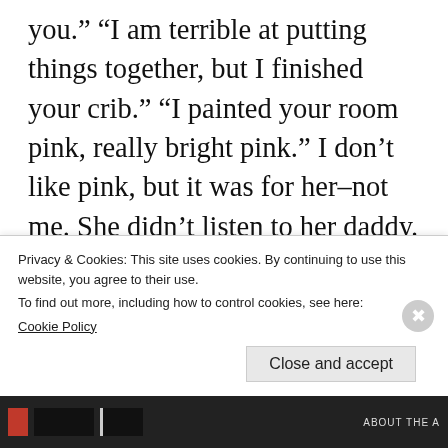you.” “I am terrible at putting things together, but I finished your crib.” “I painted your room pink, really bright pink.” I don’t like pink, but it was for her–not me. She didn’t listen to her daddy. She would not move. Her heart would not beat. I didn’t want to look at the screen any longer. I couldn’t look my baby’s mother in the eye. I wanted the nightmare to end. At any moment, I was waiting for the soothing sounds of the
Privacy & Cookies: This site uses cookies. By continuing to use this website, you agree to their use.
To find out more, including how to control cookies, see here:
Cookie Policy
Close and accept